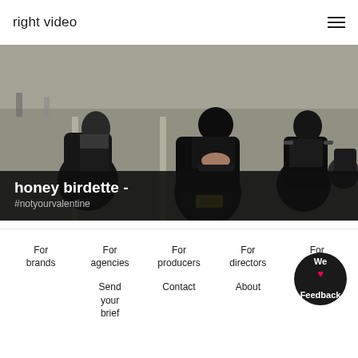right video
[Figure (photo): Motorcycle riders on a road, riders wearing leather outfits, urban street setting, daytime.]
honey birdette - #notyourvalentine
For brands | For agencies | For producers | For directors | For others
Send your brief | Contact | About
We ❤ Feedback